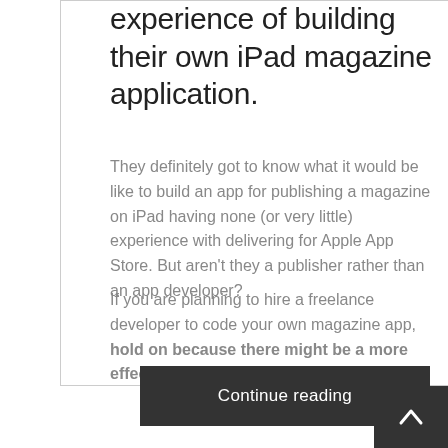experience of building their own iPad magazine application.
They definitely got to know what it would be like to build an app for publishing a magazine on iPad having none (or very little) experience with delivering for Apple App Store. But aren't they a publisher rather than an app developer?
If you are planning to hire a freelance developer to code your own magazine app, hold on because there might be a more effective solution which really works.
Continue reading